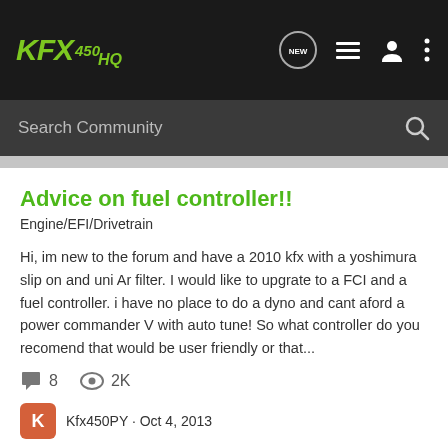KFX 450 HQ
Search Community
Advice on fuel controller!!
Engine/EFI/Drivetrain
Hi, im new to the forum and have a 2010 kfx with a yoshimura slip on and uni Ar filter. I would like to upgrate to a FCI and a fuel controller. i have no place to do a dyno and cant aford a power commander V with auto tune! So what controller do you recomend that would be user friendly or that...
8 replies  2K views
Kfx450PY · Oct 4, 2013
fci  fci intake  fuel controller  powwercommander  yoshimura